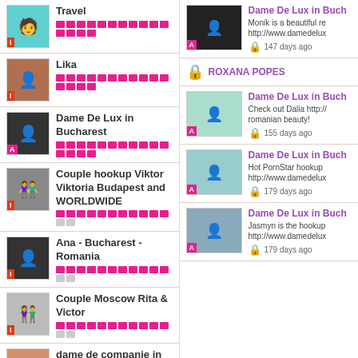Travel — rating bar full
Lika — rating bar full
Dame De Lux in Bucharest — rating bar full
Couple hookup Viktor Viktoria Budapest and WORLDWIDE — rating bar partial
Ana - Bucharest - Romania — rating bar partial
Couple Moscow Rita & Victor — rating bar partial
dame de companie in
Dame De Lux in Buch — Monik is a beautiful re http://www.damedelux — 147 days ago
ROXANA POPES
Dame De Lux in Buch — Check out Dalia http://... romanian beauty! — 155 days ago
Dame De Lux in Buch — Hot PornStar hookup http://www.damedelux — 179 days ago
Dame De Lux in Buch — Jasmyn is the hookup http://www.damedelux — 179 days ago